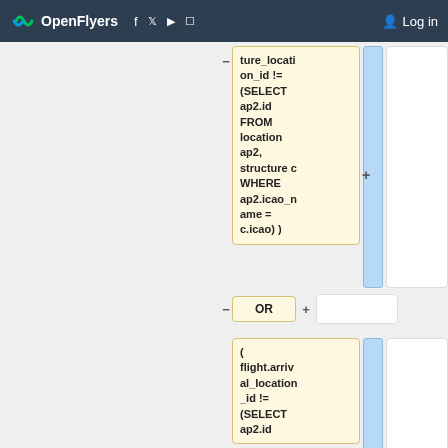OpenFlyers | Log in
[Figure (screenshot): SQL query visual builder showing nodes with SQL fragments: 'ture_location_id != (SELECT ap2.id FROM location ap2, structure c WHERE ap2.icao_name = c.icao) )', an OR node, and '( flight.arrival_location_id != (SELECT ap2.id' with expand/collapse controls and blue connector bars]